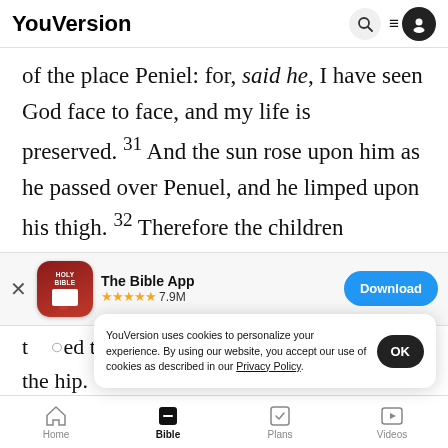YouVersion
of the place Peniel: for, said he, I have seen God face to face, and my life is preserved. 31 And the sun rose upon him as he passed over Penuel, and he limped upon his thigh. 32 Therefore the children
[Figure (screenshot): App store banner for 'The Bible App' with red Holy Bible app icon, 5 stars, 7.9M ratings, and a blue Download button]
touched the hollow of Jacob's thigh in the sin the hip.
YouVersion uses cookies to personalize your experience. By using our website, you accept our use of cookies as described in our Privacy Policy.
Home | Bible | Plans | Videos